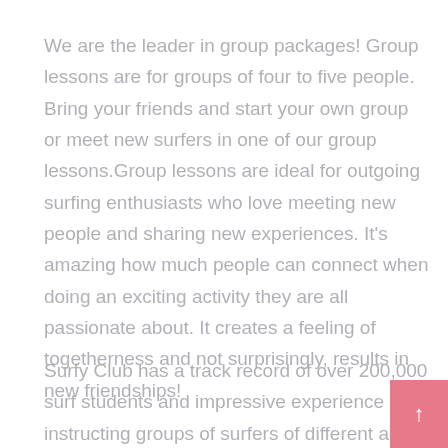We are the leader in group packages! Group lessons are for groups of four to five people. Bring your friends and start your own group or meet new surfers in one of our group lessons.Group lessons are ideal for outgoing surfing enthusiasts who love meeting new people and sharing new experiences. It's amazing how much people can connect when doing an exciting activity they are all passionate about. It creates a feeling of togetherness and not surprisingly, results in new friendships!
Surfy Club has a track record of over 200,000 surf students and impressive experience in instructing groups of surfers of different ages. Our instructors are professional, certified and very friendly! They